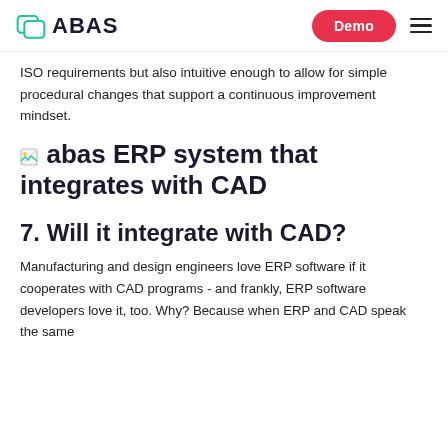ABAS | Demo
ISO requirements but also intuitive enough to allow for simple procedural changes that support a continuous improvement mindset.
[Figure (other): Broken image icon followed by heading text: abas ERP system that integrates with CAD]
7. Will it integrate with CAD?
Manufacturing and design engineers love ERP software if it cooperates with CAD programs - and frankly, ERP software developers love it, too. Why? Because when ERP and CAD speak the same language...